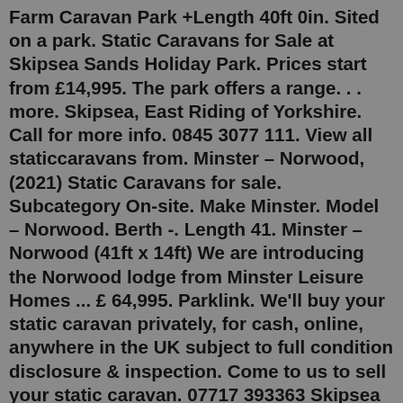Farm Caravan Park +Length 40ft 0in. Sited on a park. Static Caravans for Sale at Skipsea Sands Holiday Park. Prices start from £14,995. The park offers a range. . . more. Skipsea, East Riding of Yorkshire. Call for more info. 0845 3077 111. View all staticcaravans from. Minster – Norwood, (2021) Static Caravans for sale. Subcategory On-site. Make Minster. Model – Norwood. Berth -. Length 41. Minster – Norwood (41ft x 14ft) We are introducing the Norwood lodge from Minster Leisure Homes ... £ 64,995. Parklink. We'll buy your static caravan privately, for cash, online, anywhere in the UK subject to full condition disclosure & inspection. Come to us to sell your static caravan. 07717 393363 Skipsea Caravan Windows Ltd (Trade Division), Hornsea Road, Skipsea, East Yorkshire, YO25 8ST. Tel: 01262 469811 or Call / Text 07901538110. We have placed the map below for your convenience. Please feel free to call us if you need further directions at any stage of your journey...Static Caravans For Sale in East Yorkshire. Maples Country Park is